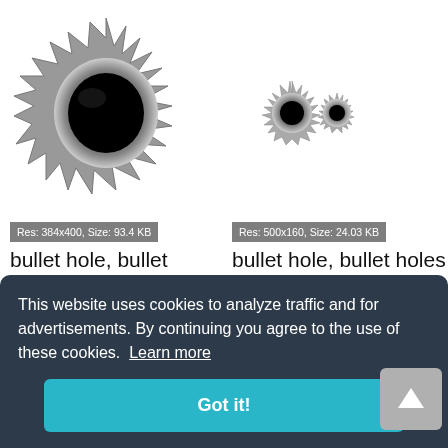[Figure (photo): Large bullet hole with jagged metallic edges and dark center, grayscale]
Res: 384x400, Size: 93.4 KB
bullet hole, bullet holes
[Figure (photo): Two small bullet holes side by side, grayscale]
Res: 500x160, Size: 24.03 KB
bullet hole, bullet holes
This website uses cookies to analyze traffic and for advertisements. By continuing you agree to the use of these cookies. Learn more
Got it!